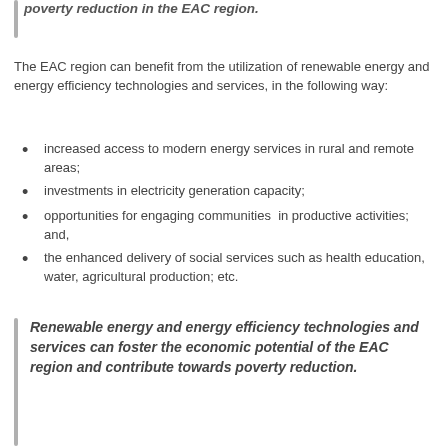poverty reduction in the EAC region.
The EAC region can benefit from the utilization of renewable energy and energy efficiency technologies and services, in the following way:
increased access to modern energy services in rural and remote areas;
investments in electricity generation capacity;
opportunities for engaging communities  in productive activities; and,
the enhanced delivery of social services such as health education, water, agricultural production; etc.
Renewable energy and energy efficiency technologies and services can foster the economic potential of the EAC region and contribute towards poverty reduction.